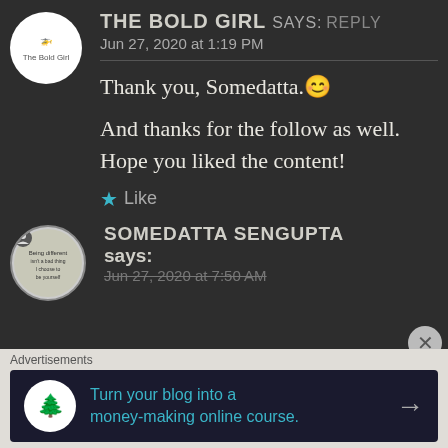THE BOLD GIRL says: Reply
Jun 27, 2020 at 1:19 PM
Thank you, Somedatta.😊
And thanks for the follow as well. Hope you liked the content!
★ Like
SOMEDATTA SENGUPTA says:
Jun 27, 2020 at 7:50 AM
Advertisements
Turn your blog into a money-making online course. →